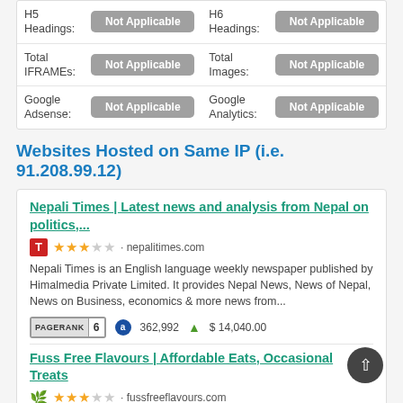| H5 | Not Applicable | H6 | Not Applicable |
| Headings: |  | Headings: |  |
| Total IFRAMEs: | Not Applicable | Total Images: | Not Applicable |
| Google Adsense: | Not Applicable | Google Analytics: | Not Applicable |
Websites Hosted on Same IP (i.e. 91.208.99.12)
Nepali Times | Latest news and analysis from Nepal on politics,...
nepalitimes.com
Nepali Times is an English language weekly newspaper published by Himalmedia Private Limited. It provides Nepal News, News of Nepal, News on Business, economics & more news from...
PAGERANK 6   362,992   $ 14,040.00
Fuss Free Flavours | Affordable Eats, Occasional Treats
fussfreeflavours.com